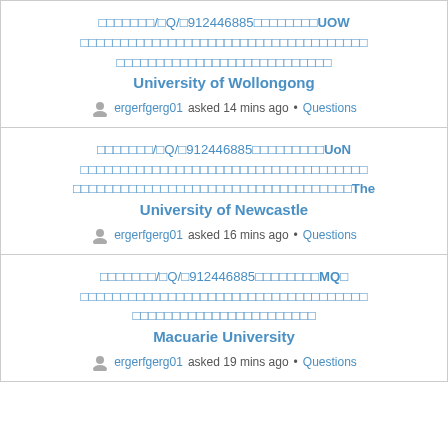□□□□□□□/□Q/□912446885□□□□□□□□UOW □□□□□□□□□□□□□□□□□□□□□□□□□□□□□□□□□□□□ □□□□□□□□□□□□□□□□□□□□□□□□□□□ University of Wollongong
ergerfgerg01 asked 14 mins ago • Questions
□□□□□□□/□Q/□912446885□□□□□□□□□UoN □□□□□□□□□□□□□□□□□□□□□□□□□□□□□□□□□□□□ □□□□□□□□□□□□□□□□□□□□□□□□□□□□□□□□□□□The University of Newcastle
ergerfgerg01 asked 16 mins ago • Questions
□□□□□□□/□Q/□912446885□□□□□□□□MQ□ □□□□□□□□□□□□□□□□□□□□□□□□□□□□□□□□□□□□ □□□□□□□□□□□□□□□□□□□□□□□ Macuarie University
ergerfgerg01 asked 19 mins ago • Questions